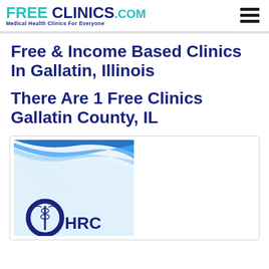FreeClinics.com - Medical Health Clinics For Everyone
Free & Income Based Clinics In Gallatin, Illinois
There Are 1 Free Clinics Gallatin County, IL
[Figure (photo): Clinic logo/photo showing HRC clinic with blue wave design and medical caduceus symbol]